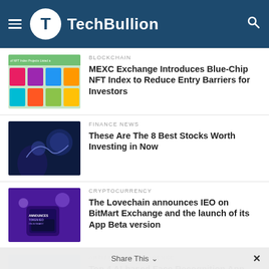TechBullion
BLOCKCHAIN – MEXC Exchange Introduces Blue-Chip NFT Index to Reduce Entry Barriers for Investors
FINANCE NEWS – These Are The 8 Best Stocks Worth Investing in Now
CRYPTOCURRENCY – The Lovechain announces IEO on BitMart Exchange and the launch of its App Beta version
ARTIFICIAL INTELLIGENCE – Top 4 AI-based Face Recognition Applications